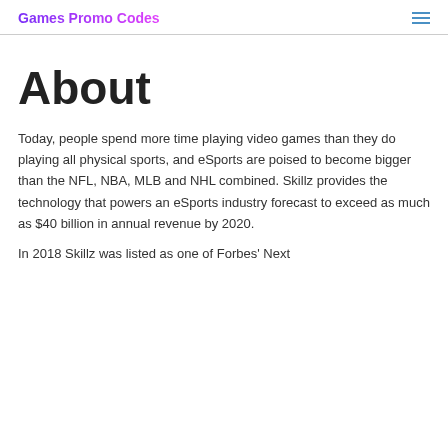Games Promo Codes
About
Today, people spend more time playing video games than they do playing all physical sports, and eSports are poised to become bigger than the NFL, NBA, MLB and NHL combined. Skillz provides the technology that powers an eSports industry forecast to exceed as much as $40 billion in annual revenue by 2020.
In 2018 Skillz was listed as one of Forbes' Next